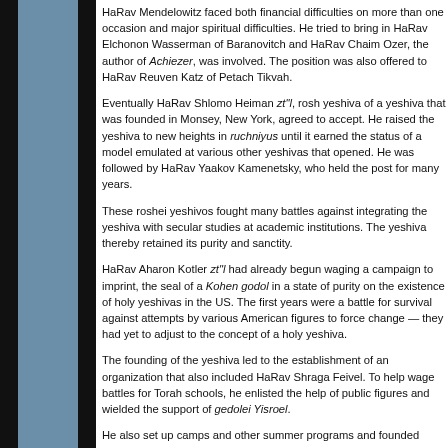HaRav Mendelowitz faced both financial difficulties on more than one occasion and major spiritual difficulties. He tried to bring in HaRav Elchonon Wasserman of Baranovitch and HaRav Chaim Ozer, the author of Achiezer, was involved. The position was also offered to HaRav Reuven Katz of Petach Tikvah.
Eventually HaRav Shlomo Heiman zt"l, rosh yeshiva of a yeshiva that was founded in Monsey, New York, agreed to accept. He raised the yeshiva to new heights in ruchniyus until it earned the status of a model emulated at various other yeshivas that opened. He was followed by HaRav Yaakov Kamenetsky, who held the post for many years.
These roshei yeshivos fought many battles against integrating the yeshiva with secular studies at academic institutions. The yeshiva thereby retained its purity and sanctity.
HaRav Aharon Kotler zt"l had already begun waging a campaign to imprint, the seal of a Kohen godol in a state of purity on the existence of holy yeshivas in the US. The first years were a battle for survival against attempts by various American figures to force change — they had yet to adjust to the concept of a holy yeshiva.
The founding of the yeshiva led to the establishment of an organization that also included HaRav Shraga Feivel. To help wage battles for Torah schools, he enlisted the help of public figures and wielded the support of gedolei Yisroel.
He also set up camps and other summer programs and founded Torah U'Mesorah, an organization dedicated to founding and maintaining